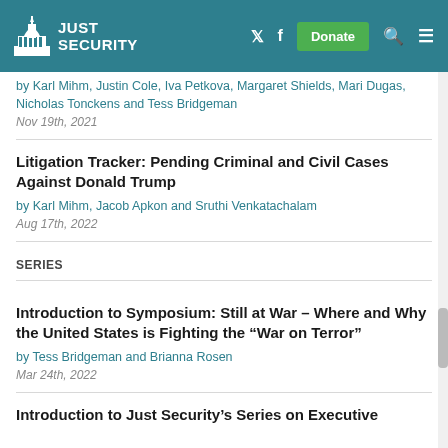JUST SECURITY
by Karl Mihm, Justin Cole, Iva Petkova, Margaret Shields, Mari Dugas, Nicholas Tonckens and Tess Bridgeman
Nov 19th, 2021
Litigation Tracker: Pending Criminal and Civil Cases Against Donald Trump
by Karl Mihm, Jacob Apkon and Sruthi Venkatachalam
Aug 17th, 2022
SERIES
Introduction to Symposium: Still at War – Where and Why the United States is Fighting the “War on Terror”
by Tess Bridgeman and Brianna Rosen
Mar 24th, 2022
Introduction to Just Security’s Series on Executive